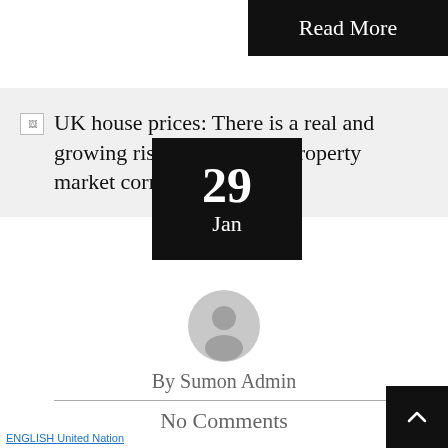Read More
UK house prices: There is a real and growing risk of a sizeable property market correction
[Figure (other): Date badge overlay showing '29 Jan' on dark background]
[Figure (illustration): Round user avatar icon in grey]
By Sumon Admin
No Comments
ENGLISH United Nation